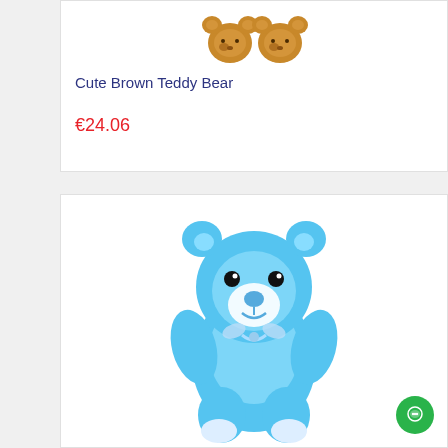[Figure (photo): Two brown teddy bears shown from the top, partially cut off at the top of the card]
Cute Brown Teddy Bear
€24.06
[Figure (photo): A blue plush teddy bear with a white bow/ribbon, sitting upright, with black eyes and a light blue nose]